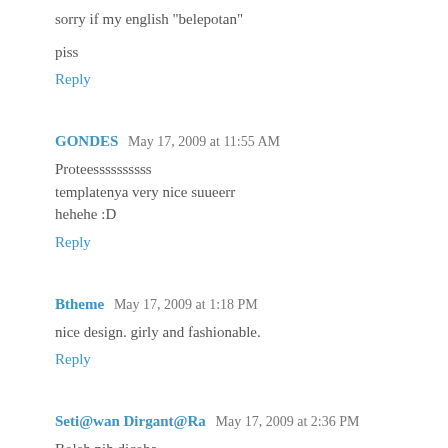sorry if my english "belepotan"
piss
Reply
GONDES  May 17, 2009 at 11:55 AM
Proteessssssssss
templatenya very nice suueerr
hehehe :D
Reply
Btheme  May 17, 2009 at 1:18 PM
nice design. girly and fashionable.
Reply
Seti@wan Dirgant@Ra  May 17, 2009 at 2:36 PM
Boleh nih dicoba,...